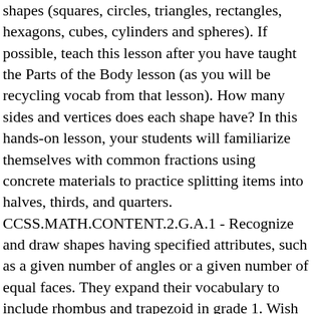shapes (squares, circles, triangles, rectangles, hexagons, cubes, cylinders and spheres). If possible, teach this lesson after you have taught the Parts of the Body lesson (as you will be recycling vocab from that lesson). How many sides and vertices does each shape have? In this hands-on lesson, your students will familiarize themselves with common fractions using concrete materials to practice splitting items into halves, thirds, and quarters. CCSS.MATH.CONTENT.2.G.A.1 - Recognize and draw shapes having specified attributes, such as a given number of angles or a given number of equal faces. They expand their vocabulary to include rhombus and trapezoid in grade 1. Wish List. Children will then read and write about her, and create their own paper rocket. Class Ace. Your 1st grade class has just been introduced